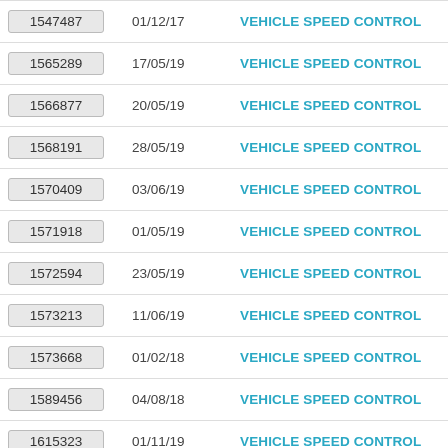| ID | Date | Type |
| --- | --- | --- |
| 1547487 | 01/12/17 | VEHICLE SPEED CONTROL |
| 1565289 | 17/05/19 | VEHICLE SPEED CONTROL |
| 1566877 | 20/05/19 | VEHICLE SPEED CONTROL |
| 1568191 | 28/05/19 | VEHICLE SPEED CONTROL |
| 1570409 | 03/06/19 | VEHICLE SPEED CONTROL |
| 1571918 | 01/05/19 | VEHICLE SPEED CONTROL |
| 1572594 | 23/05/19 | VEHICLE SPEED CONTROL |
| 1573213 | 11/06/19 | VEHICLE SPEED CONTROL |
| 1573668 | 01/02/18 | VEHICLE SPEED CONTROL |
| 1589456 | 04/08/18 | VEHICLE SPEED CONTROL |
| 1615323 | 01/11/19 | VEHICLE SPEED CONTROL |
| 1615869 | 31/10/19 | VEHICLE SPEED CONTROL |